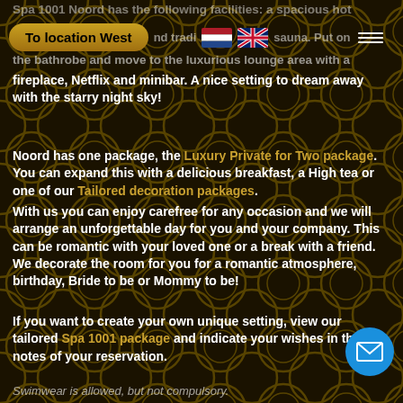Spa 1001 Noord has the following facilities: a spacious hot tub and traditional Finnish sauna. Put on the bathrobe and move to the luxurious lounge area with a fireplace, Netflix and minibar. A nice setting to dream away with the starry night sky!
Noord has one package, the Luxury Private for Two package. You can expand this with a delicious breakfast, a High tea or one of our Tailored decoration packages. With us you can enjoy carefree for any occasion and we will arrange an unforgettable day for you and your company. This can be romantic with your loved one or a break with a friend. We decorate the room for you for a romantic atmosphere, birthday, Bride to be or Mommy to be!
If you want to create your own unique setting, view our tailored Spa 1001 package and indicate your wishes in the notes of your reservation.
Swimwear is allowed, but not compulsory.